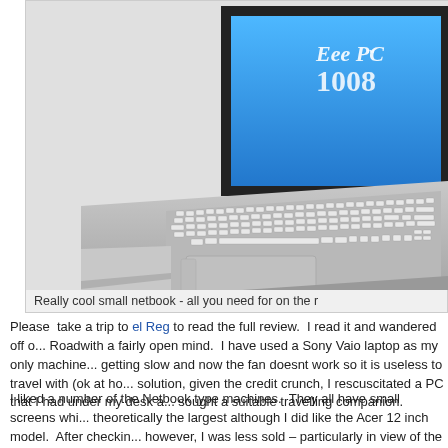[Figure (photo): ASUS Eee PC 1008 netbook laptop shown from a three-quarter angle, silver/aluminum body with white keyboard, screen showing 'Eee PC 1008' branding on blue background]
Really cool small netbook - all you need for on the r...
Please take a trip to el Reg to read the full review. I read it and wandered off o... Roadwith a fairly open mind. I have used a Sony Vaio laptop as my only machine... getting slow and now the fan doesnt work so it is useless to travel with (ok at ho... solution, given the credit crunch, I rescuscitated a PC that I had under my desk a... sought a suitable travelling companion.
I liked a number of the Netbook type machines. They all have small screens whi... theoretically the largest although I did like the Acer 12 inch model. After checkin... however, I was less sold – particularly in view of the difficulty that I was having re... machine in the shop! I liked the added screen real estate, but unfortunately the ...